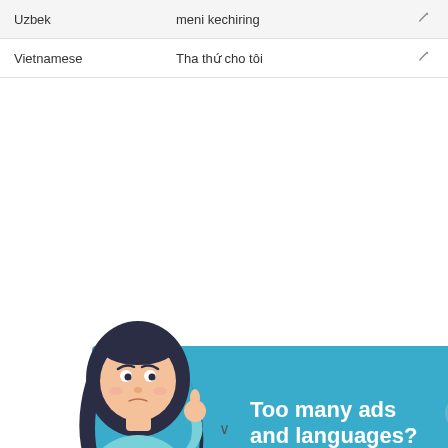| Language | Translation |  |
| --- | --- | --- |
| Uzbek | meni kechiring | ✎ |
| Vietnamese | Tha thứ cho tôi | ✎ |
[Figure (illustration): Advertisement banner with cartoon woman looking thoughtful, teal background. Text: 'Too many ads and languages? Sign up to remove ads and customize your list of languages']